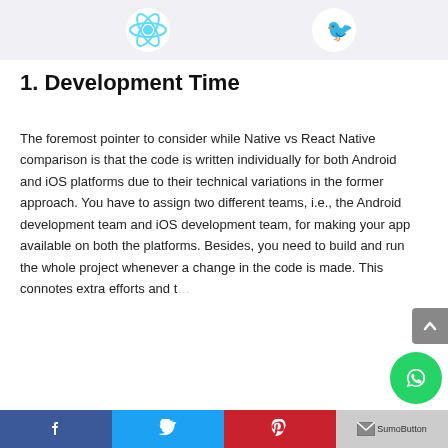[Figure (illustration): Top banner with React Native logo (blue atom icon) on the left and Swift logo (orange bird with blue flame) on the right, on a light grey background.]
1. Development Time
The foremost pointer to consider while Native vs React Native comparison is that the code is written individually for both Android and iOS platforms due to their technical variations in the former approach. You have to assign two different teams, i.e., the Android development team and iOS development team, for making your app available on both the platforms. Besides, you need to build and run the whole project whenever a change in the code is made. This connotes extra efforts and t...